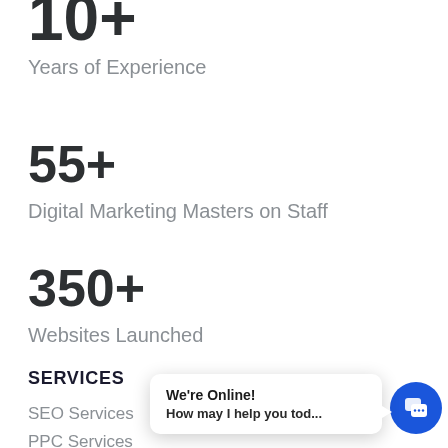10+
Years of Experience
55+
Digital Marketing Masters on Staff
350+
Websites Launched
SERVICES
SEO Services
PPC Services
[Figure (screenshot): Live chat widget showing 'We're Online! How may I help you tod...' with a blue circular chat icon button.]